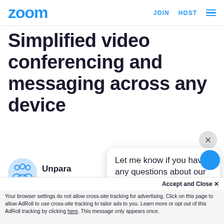zoom | JOIN HOST ≡
Simplified video conferencing and messaging across any device
[Figure (illustration): Group of people icon in blue outline style on a light blue circular background]
Unpara…
Let me know if you have any questions about our meeting options!
Enable quick adoption w… that make it easy to start, join, collaborate, and schedule meetings across any device.
Accept and Close ×
Your browser settings do not allow cross-site tracking for advertising. Click on this page to allow AdRoll to use cross-site tracking to tailor ads to you. Learn more or opt out of this AdRoll tracking by clicking here. This message only appears once.